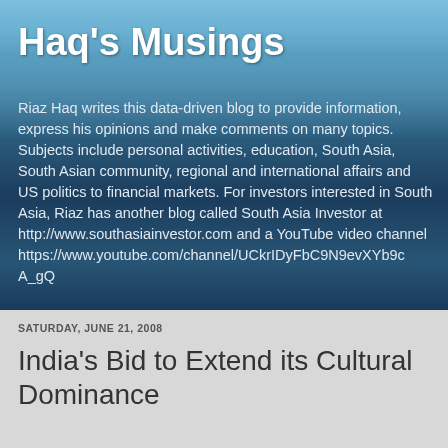Haq's Musings
Riaz Haq writes this data-driven blog to provide information, express his opinions and make comments on many topics. Subjects include personal activities, education, South Asia, South Asian community, regional and international affairs and US politics to financial markets. For investors interested in South Asia, Riaz has another blog called South Asia Investor at http://www.southasiainvestor.com and a YouTube video channel https://www.youtube.com/channel/UCkrIDyFbC9N9evXYb9cA_gQ
SATURDAY, JUNE 21, 2008
India's Bid to Extend its Cultural Dominance